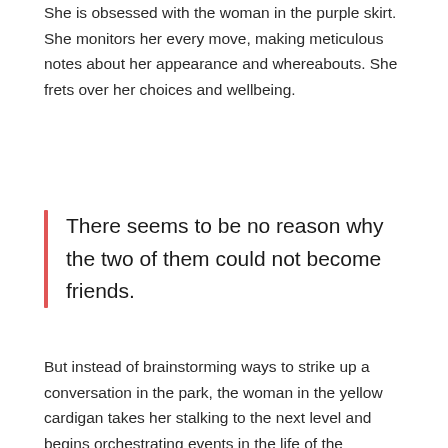She is obsessed with the woman in the purple skirt. She monitors her every move, making meticulous notes about her appearance and whereabouts. She frets over her choices and wellbeing.
There seems to be no reason why the two of them could not become friends.
But instead of brainstorming ways to strike up a conversation in the park, the woman in the yellow cardigan takes her stalking to the next level and begins orchestrating events in the life of the